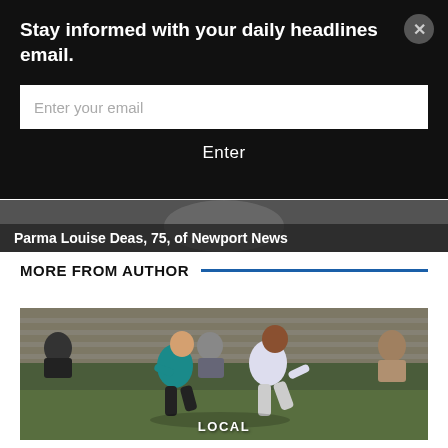Stay informed with your daily headlines email.
Enter your email
Enter
Parma Louise Deas, 75, of Newport News
MORE FROM AUTHOR
[Figure (photo): Two soccer players competing on a field, one in a teal jersey and one in white, with spectators in bleachers in background. LOCAL label at bottom.]